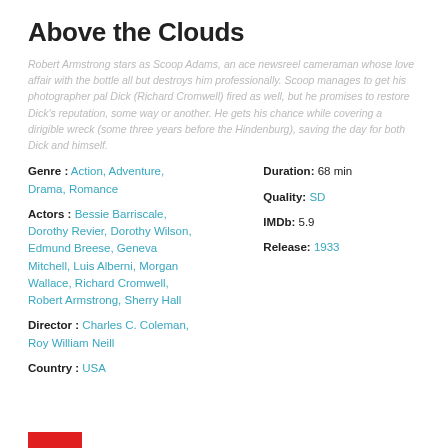Above the Clouds
Robert Armstrong stars as Scoop Adams, an ace newsreel cameraman whose love affair with the bottle all but destroys him professionally. Scoop manages to get his photographer pal Dick (Richard Cromwell) fired as well, but he promises to restore Dick's reputation, some way or another. He gets his chance while covering a dirigible wreck (some three years before the Hindenburg), saving the day for both Dick and himself.
Genre : Action, Adventure, Drama, Romance
Actors : Bessie Barriscale, Dorothy Revier, Dorothy Wilson, Edmund Breese, Geneva Mitchell, Luis Alberni, Morgan Wallace, Richard Cromwell, Robert Armstrong, Sherry Hall
Director : Charles C. Coleman, Roy William Neill
Country : USA
Duration: 68 min
Quality: SD
IMDb: 5.9
Release: 1933